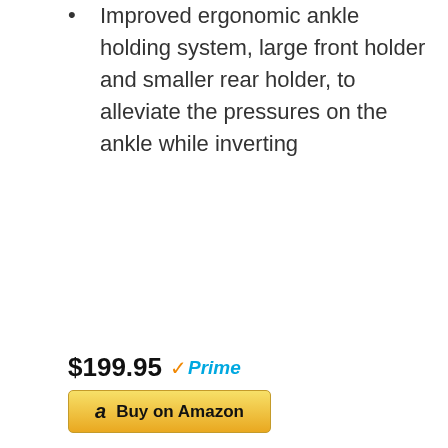Improved ergonomic ankle holding system, large front holder and smaller rear holder, to alleviate the pressures on the ankle while inverting
$199.95 Prime
[Figure (other): Buy on Amazon button with Amazon logo 'a']
[Figure (photo): Close-up photo of a white padded ankle holder/bracket component with dotted texture fabric and a metal attachment mechanism]